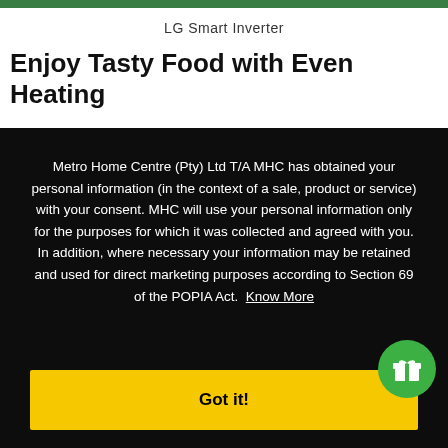LG Smart Inverter
Enjoy Tasty Food with Even Heating
Metro Home Centre (Pty) Ltd T/A MHC has obtained your personal information (in the context of a sale, product or service) with your consent. MHC will use your personal information only for the purposes for which it was collected and agreed with you. In addition, where necessary your information may be retained and used for direct marketing purposes according to Section 69 of the POPIA Act. Know More
Got it!